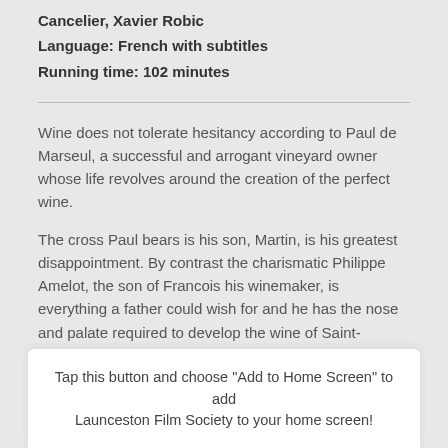Cancelier, Xavier Robic
Language: French with subtitles
Running time: 102 minutes
Wine does not tolerate hesitancy according to Paul de Marseul, a successful and arrogant vineyard owner whose life revolves around the creation of the perfect wine.
The cross Paul bears is his son, Martin, is his greatest disappointment. By contrast the charismatic Philippe Amelot, the son of Francois his winemaker, is everything a father could wish for and he has the nose and palate required to develop the wine of Saint-Emilion. Among the serene, beautiful vineyards and the chateau where they ...a ...father from California. The dynamic changes and with
Tap this button and choose "Add to Home Screen" to add Launceston Film Society to your home screen!